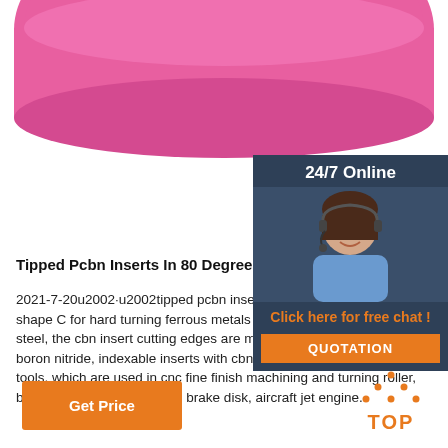[Figure (photo): Pink rounded bowl/cup product photo on white background, top portion visible]
[Figure (photo): 24/7 Online customer service widget with woman wearing headset, orange QUOTATION button]
Tipped Pcbn Inserts In 80 Degree Diamond Shape C
2021-7-20u2002·u2002tipped pcbn inserts in 80 degree diamond shape C for hard turning ferrous metals of cast iron and hardened steel, the cbn insert cutting edges are made with polycrystalline cubic boron nitride, indexable inserts with cbn tips are precision cutting tools, which are used in cnc fine finish machining and turning roller, bearing, pumps, automobile brake disk, aircraft jet engine.
[Figure (logo): Orange TOP button with dotted triangle icon]